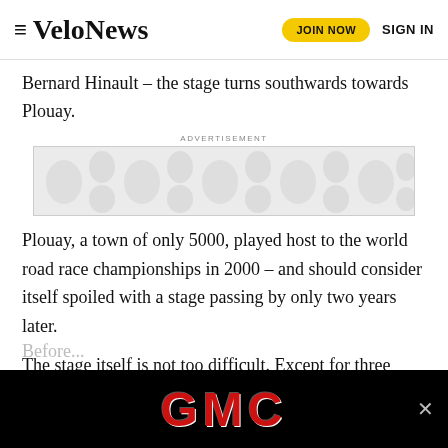VeloNews  JOIN NOW  SIGN IN
Bernard Hinault – the stage turns southwards towards Plouay.
ADVERTISEMENT
[Figure (other): Advertisement placeholder with decorative blob pattern background]
Plouay, a town of only 5000, played host to the world road race championships in 2000 – and should consider itself spoiled with a stage passing by only two years later.
The stage itself is not too difficult. Except for three minor climbs, there is little to worry even the worst of the peloton's climbers, although the final ascent of the day is only three kilometers from the finish line which comes into view after a final stra...
Before...
[Figure (other): GMC advertisement banner — black background with large red GMC logo text and a close button]